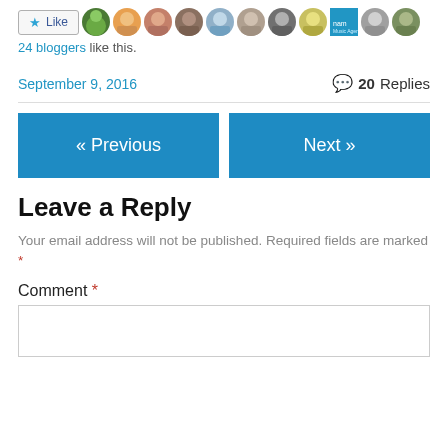[Figure (other): Like button with star icon followed by a row of blogger avatar thumbnails]
24 bloggers like this.
September 9, 2016   💬 20 Replies
« Previous
Next »
Leave a Reply
Your email address will not be published. Required fields are marked *
Comment *